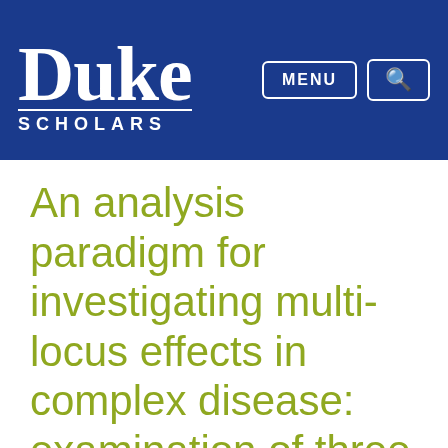Duke Scholars
An analysis paradigm for investigating multi-locus effects in complex disease: examination of three GABA receptor subunit genes on 15q11